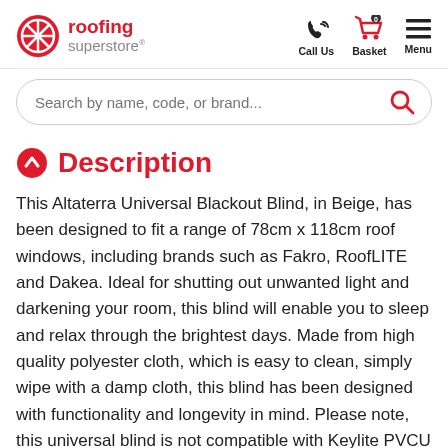roofing superstore | Call Us | Basket 0 | Menu
Search by name, code, or brand...
Description
This Altaterra Universal Blackout Blind, in Beige, has been designed to fit a range of 78cm x 118cm roof windows, including brands such as Fakro, RoofLITE and Dakea. Ideal for shutting out unwanted light and darkening your room, this blind will enable you to sleep and relax through the brightest days. Made from high quality polyester cloth, which is easy to clean, simply wipe with a damp cloth, this blind has been designed with functionality and longevity in mind. Please note, this universal blind is not compatible with Keylite PVCU